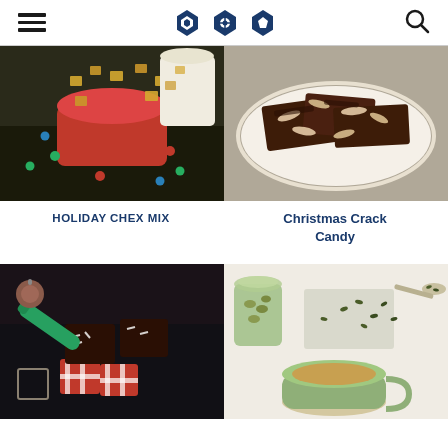Navigation header with hamburger menu, logo icons, and search icon
[Figure (photo): Holiday Chex Mix in a red bowl with colorful M&Ms scattered on a dark surface]
HOLIDAY CHEX MIX
[Figure (photo): Christmas Crack Candy - chocolate bark with almonds on a white scalloped dish]
Christmas Crack Candy
[Figure (photo): Chocolate squares with sprinkles surrounded by Christmas gift wrapping and ornaments]
[Figure (photo): A cup of tea with herbs/cardamom scattered on a white surface with a green spoon]